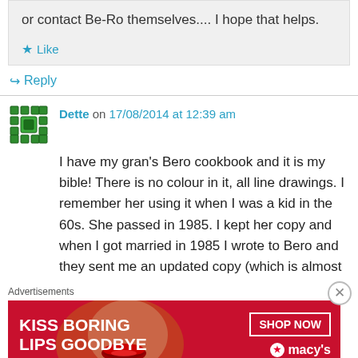or contact Be-Ro themselves....  I hope that helps.
★ Like
↪ Reply
Dette on 17/08/2014 at 12:39 am
I have my gran's Bero cookbook and it is my bible! There is no colour in it, all line drawings. I remember her using it when I was a kid in the 60s. She passed in 1985. I kept her copy and when I got married in 1985 I wrote to Bero and they sent me an updated copy (which is almost
Advertisements
[Figure (illustration): Macy's lip product advertisement banner: red background, woman's face with red lips, text 'KISS BORING LIPS GOODBYE', 'SHOP NOW' button, Macy's star logo]